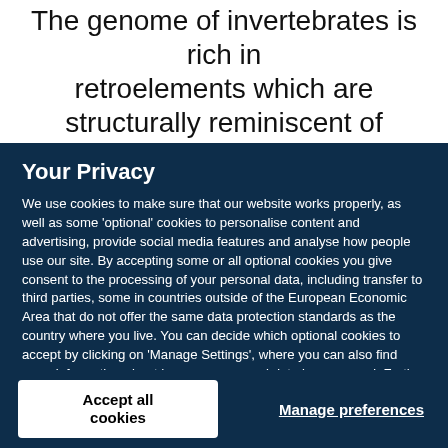The genome of invertebrates is rich in retroelements which are structurally reminiscent of the retroviruses of vertebrates. Those containing
Your Privacy
We use cookies to make sure that our website works properly, as well as some 'optional' cookies to personalise content and advertising, provide social media features and analyse how people use our site. By accepting some or all optional cookies you give consent to the processing of your personal data, including transfer to third parties, some in countries outside of the European Economic Area that do not offer the same data protection standards as the country where you live. You can decide which optional cookies to accept by clicking on 'Manage Settings', where you can also find more information about how your personal data is processed. Further information can be found in our privacy policy.
Accept all cookies
Manage preferences